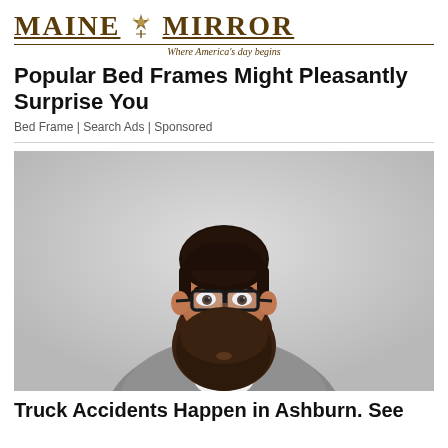MAINE MIRROR — Where America's day begins
Popular Bed Frames Might Pleasantly Surprise You
Bed Frame | Search Ads | Sponsored
[Figure (photo): Portrait of a bearded man with glasses wearing a grey henley shirt, looking directly at camera against a light grey background]
Truck Accidents Happen in Ashburn. See